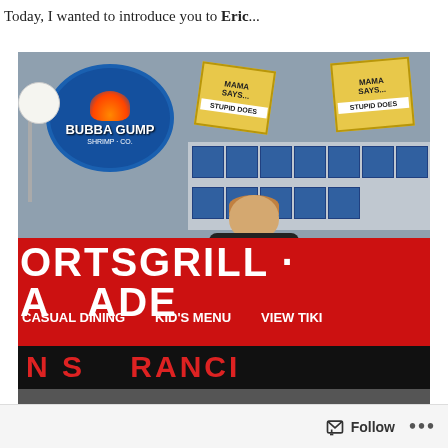Today, I wanted to introduce you to Eric...
[Figure (photo): A man (Eric) wearing a black long-sleeve shirt and pink/red shorts, standing in front of a Bubba Gump Shrimp Co. restaurant. The restaurant awning reads 'ORTSGRILL · ARCADE' and below 'CASUAL DINING   KID'S MENU   VIEW TIKI'. An LED sign at the bottom shows red text. Mama Says Stupid Does signs are visible in the window.]
Follow  ...